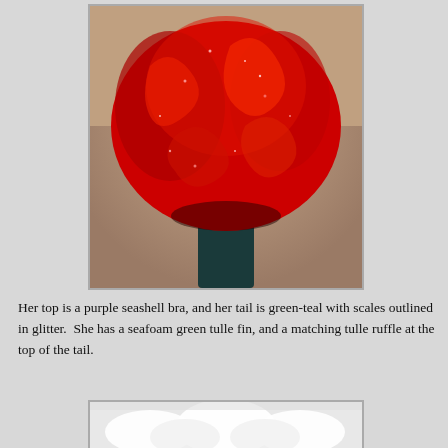[Figure (photo): Close-up photo of a doll with bright red curly/wavy hair shot against a light background. The hair is voluminous and shiny with a glittery appearance. The doll's neck/body is visible at the bottom showing a dark teal or black section.]
Her top is a purple seashell bra, and her tail is green-teal with scales outlined in glitter.  She has a seafoam green tulle fin, and a matching tulle ruffle at the top of the tail.
[Figure (photo): Partial photo showing white tulle or fabric ruffles against a white/light background, partially visible at bottom of page.]